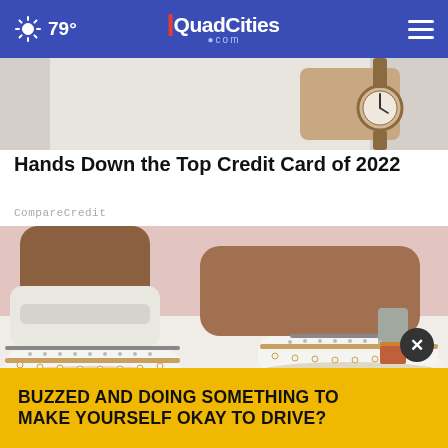79° | QuadCities.com
[Figure (photo): Partial view of a person wearing a white outfit and a brown leather watch]
Hands Down the Top Credit Card of 2022
CompareCredit
[Figure (photo): Close-up of feet wearing white slip-on shoes with decorative perforations and brown/metallic accent stripes, against a pink and white background]
BUZZED AND DOING SOMETHING TO MAKE YOURSELF OKAY TO DRIVE?